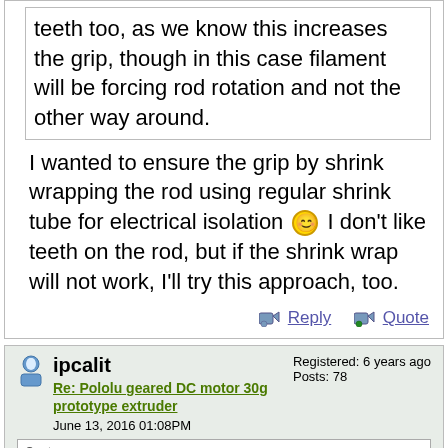teeth too, as we know this increases the grip, though in this case filament will be forcing rod rotation and not the other way around.
I wanted to ensure the grip by shrink wrapping the rod using regular shrink tube for electrical isolation :) I don't like teeth on the rod, but if the shrink wrap will not work, I'll try this approach, too.
Reply  Quote
ipcalit
Re: Pololu geared DC motor 30g prototype extruder
June 13, 2016 01:08PM
Registered: 6 years ago
Posts: 78
Quote
rklauco
Quote
misan
Your steel rod for filament motion sensing may have some teeth too, as we know this increases the grip, though in this case filament will be forcing rod rotation and not the other way around.
I wanted to ensure the grip by shrink wrapping the rod using regular shrink tube for electrical isolation :) I don't like teeth on the rod, but if the shrink wrap will not work, I'll try this approach, too.